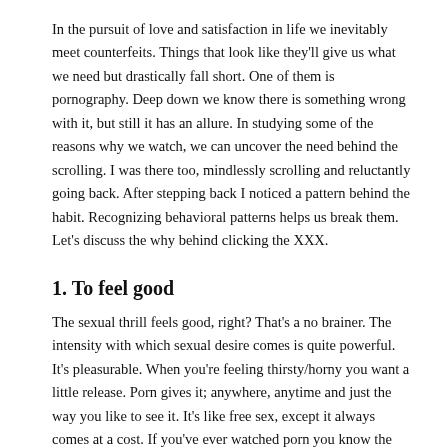In the pursuit of love and satisfaction in life we inevitably meet counterfeits. Things that look like they'll give us what we need but drastically fall short. One of them is pornography. Deep down we know there is something wrong with it, but still it has an allure. In studying some of the reasons why we watch, we can uncover the need behind the scrolling. I was there too, mindlessly scrolling and reluctantly going back. After stepping back I noticed a pattern behind the habit. Recognizing behavioral patterns helps us break them. Let's discuss the why behind clicking the XXX.
1. To feel good
The sexual thrill feels good, right? That's a no brainer. The intensity with which sexual desire comes is quite powerful. It's pleasurable. When you're feeling thirsty/horny you want a little release. Porn gives it; anywhere, anytime and just the way you like to see it. It's like free sex, except it always comes at a cost. If you've ever watched porn you know the high only lasts so long as the screen is on. It heats up the desire but never really satisfies it.